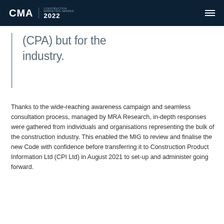CMA | CONSTRUCTION MARKETING AWARDS 2022
(CPA) but for the industry.
Thanks to the wide-reaching awareness campaign and seamless consultation process, managed by MRA Research, in-depth responses were gathered from individuals and organisations representing the bulk of the construction industry. This enabled the MIG to review and finalise the new Code with confidence before transferring it to Construction Product Information Ltd (CPI Ltd) in August 2021 to set-up and administer going forward.